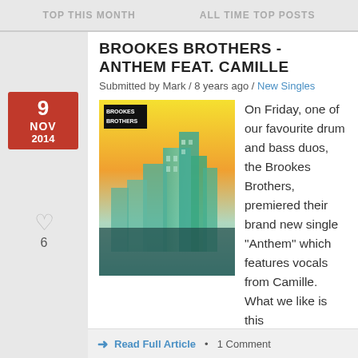TOP THIS MONTH   ALL TIME TOP POSTS
BROOKES BROTHERS - ANTHEM FEAT. CAMILLE
Submitted by Mark / 8 years ago / New Singles
[Figure (illustration): Brookes Brothers album art showing an urban cityscape with teal/green tones and a yellow sky, with the Brookes Brothers logo in top-left corner]
On Friday, one of our favourite drum and bass duos, the Brookes Brothers, premiered their brand new single "Anthem" which features vocals from Camille. What we like is this exactly what we expect from Brookes Brothers, a track full to the brim with energy, and a totally uplifting vibe to boot. Hopefully this will get…
Read Full Article • 1 Comment